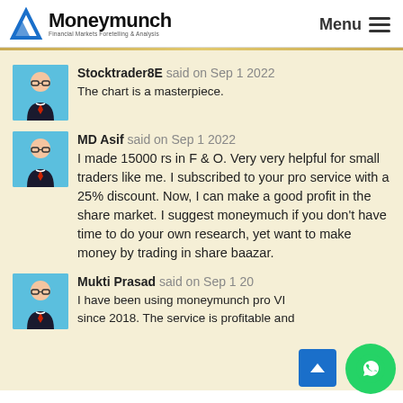Moneymunch Financial Markets Foretelling & Analysis | Menu
Stocktrader8E said on Sep 1 2022
The chart is a masterpiece.
MD Asif said on Sep 1 2022
I made 15000 rs in F & O. Very very helpful for small traders like me. I subscribed to your pro service with a 25% discount. Now, I can make a good profit in the share market. I suggest moneymuch if you don't have time to do your own research, yet want to make money by trading in share baazar.
Mukti Prasad said on Sep 1 20...
I have been using moneymunch pro VI... since 2018. The service is profitable and